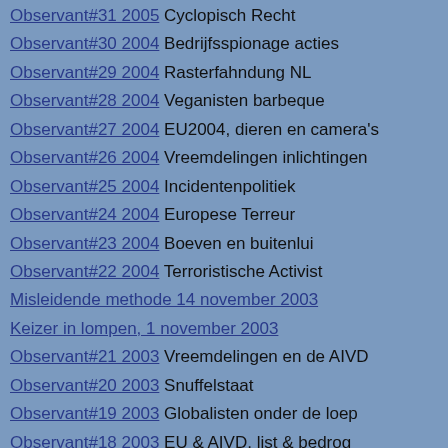Observant#31 2005 Cyclopisch Recht
Observant#30 2004 Bedrijfsspionage acties
Observant#29 2004 Rasterfahndung NL
Observant#28 2004 Veganisten barbeque
Observant#27 2004 EU2004, dieren en camera's
Observant#26 2004 Vreemdelingen inlichtingen
Observant#25 2004 Incidentenpolitiek
Observant#24 2004 Europese Terreur
Observant#23 2004 Boeven en buitenlui
Observant#22 2004 Terroristische Activist
Misleidende methode 14 november 2003
Keizer in lompen, 1 november 2003
Observant#21 2003 Vreemdelingen en de AIVD
Observant#20 2003 Snuffelstaat
Observant#19 2003 Globalisten onder de loep
Observant#18 2003 EU & AIVD, list & bedrog
De Snuffelstaat, NL en de BVD 1 november 2002
Schone schijn, 1 juni 2002
Observant#17 2002 Schone Schijn